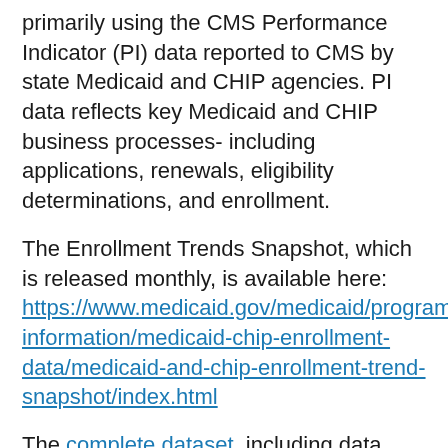primarily using the CMS Performance Indicator (PI) data reported to CMS by state Medicaid and CHIP agencies. PI data reflects key Medicaid and CHIP business processes- including applications, renewals, eligibility determinations, and enrollment.
The Enrollment Trends Snapshot, which is released monthly, is available here: https://www.medicaid.gov/medicaid/program-information/medicaid-chip-enrollment-data/medicaid-and-chip-enrollment-trend-snapshot/index.html
The complete dataset, including data from January 2021, is available on data.Medicaid.gov.
Get CMS news at cms.gov/newsroom, sign up for CMS news via email and follow CMS on @CMSgov.